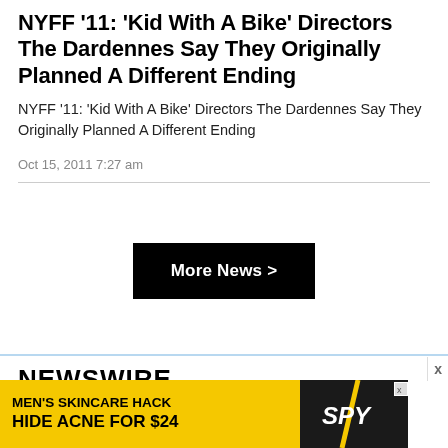NYFF '11: 'Kid With A Bike' Directors The Dardennes Say They Originally Planned A Different Ending
NYFF '11: 'Kid With A Bike' Directors The Dardennes Say They Originally Planned A Different Ending
Oct 15, 2011 7:27 am
[Figure (other): More News button — black rectangle with white bold text 'More News >']
NEWSWIRE
[Figure (infographic): Advertisement banner: yellow background with text 'MEN'S SKINCARE HACK HIDE ACNE FOR $24' and SPY logo in dark background with diagonal slash graphic]